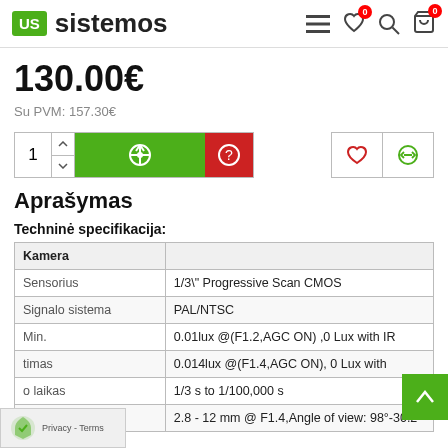US Sistemos
130.00€
Su PVM: 157.30€
Aprašymas
Techninė specifikacija:
| Kamera |  |
| --- | --- |
| Sensorius | 1/3\" Progressive Scan CMOS |
| Signalo sistema | PAL/NTSC |
| Min. | 0.01lux @(F1.2,AGC ON) ,0 Lux with IR |
| timas | 0.014lux @(F1.4,AGC ON), 0 Lux with |
| o laikas | 1/3 s to 1/100,000 s |
| Objektyvas | 2.8 - 12 mm @ F1.4,Angle of view: 98°-30.2° |